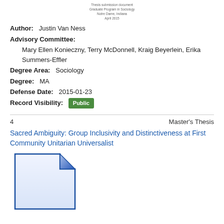[Figure (illustration): Small thumbnail of a document/thesis cover page with text indicating Graduate Program in Sociology, Notre Dame, Indiana, April 2015]
Author: Justin Van Ness
Advisory Committee: Mary Ellen Konieczny, Terry McDonnell, Kraig Beyerlein, Erika Summers-Effler
Degree Area: Sociology
Degree: MA
Defense Date: 2015-01-23
Record Visibility: Public
4    Master's Thesis
Sacred Ambiguity: Group Inclusivity and Distinctiveness at First Community Unitarian Universalist
[Figure (illustration): Generic document file icon with blue outline and folded corner, representing a thesis document]